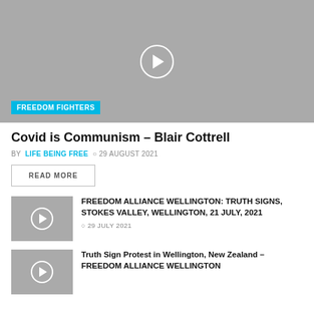[Figure (screenshot): Video thumbnail with grey background, white play button circle in center, and cyan 'FREEDOM FIGHTERS' category badge at bottom left]
Covid is Communism – Blair Cottrell
BY LIFE BEING FREE  © 29 AUGUST 2021
READ MORE
[Figure (screenshot): Small video thumbnail with grey background and white play button circle]
FREEDOM ALLIANCE WELLINGTON: TRUTH SIGNS, STOKES VALLEY, WELLINGTON, 21 JULY, 2021
© 29 JULY 2021
[Figure (screenshot): Small video thumbnail with grey background and white play button circle]
Truth Sign Protest in Wellington, New Zealand – FREEDOM ALLIANCE WELLINGTON